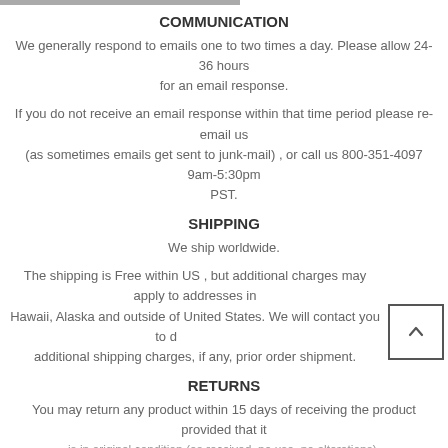COMMUNICATION
We generally respond to emails one to two times a day. Please allow 24-36 hours for an email response.
If you do not receive an email response within that time period please re-email us (as sometimes emails get sent to junk-mail) , or call us 800-351-4097 9am-5:30pm PST.
SHIPPING
We ship worldwide.
The shipping is Free within US , but additional charges may apply to addresses in Hawaii, Alaska and outside of United States. We will contact you to discuss additional shipping charges, if any, prior order shipment.
RETURNS
You may return any product within 15 days of receiving the product provided that it is in original condition (as received, no use, no alterations).